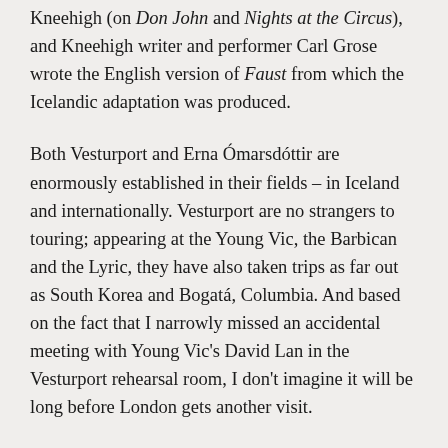Kneehigh (on Don John and Nights at the Circus), and Kneehigh writer and performer Carl Grose wrote the English version of Faust from which the Icelandic adaptation was produced.
Both Vesturport and Erna Ómarsdóttir are enormously established in their fields – in Iceland and internationally. Vesturport are no strangers to touring; appearing at the Young Vic, the Barbican and the Lyric, they have also taken trips as far out as South Korea and Bogatá, Columbia. And based on the fact that I narrowly missed an accidental meeting with Young Vic's David Lan in the Vesturport rehearsal room, I don't imagine it will be long before London gets another visit.